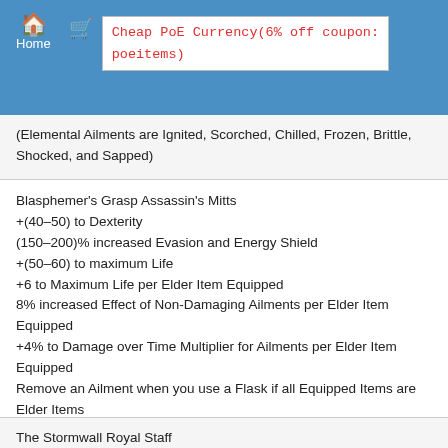Home  Cheap PoE Currency(6% off coupon: poeitems)
(Elemental Ailments are Ignited, Scorched, Chilled, Frozen, Brittle, Shocked, and Sapped)
Blasphemer's Grasp Assassin's Mitts
+(40–50) to Dexterity
(150–200)% increased Evasion and Energy Shield
+(50–60) to maximum Life
+6 to Maximum Life per Elder Item Equipped
8% increased Effect of Non-Damaging Ailments per Elder Item Equipped
+4% to Damage over Time Multiplier for Ailments per Elder Item Equipped
Remove an Ailment when you use a Flask if all Equipped Items are Elder Items
(Ailments that do not deal Damage are Scorched, Chilled, Frozen, Brittle, Shocked, and Sapped)
The Stormwall Royal Staff
+19% Chance to Block Attack Damage while wielding a…